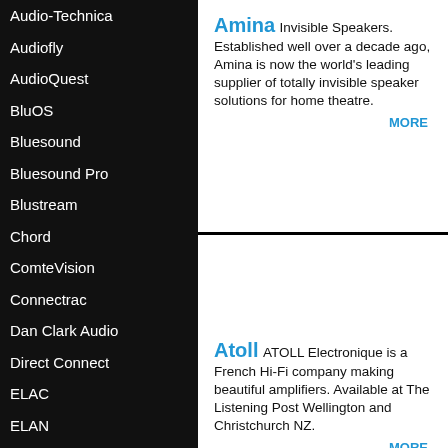Audio-Technica
Audiofly
AudioQuest
BluOS
Bluesound
Bluesound Pro
Blustream
Chord
ComteVision
Connectrac
Dan Clark Audio
Direct Connect
ELAC
ELAN
ENCEL
Epson
EzyMount
Ferrum
Furman
Amina  Invisible Speakers. Established well over a decade ago, Amina is now the world's leading supplier of totally invisible speaker solutions for home theatre.
MORE
Atoll  ATOLL Electronique is a French Hi-Fi company making beautiful amplifiers. Available at The Listening Post Wellington and Christchurch NZ.
MORE